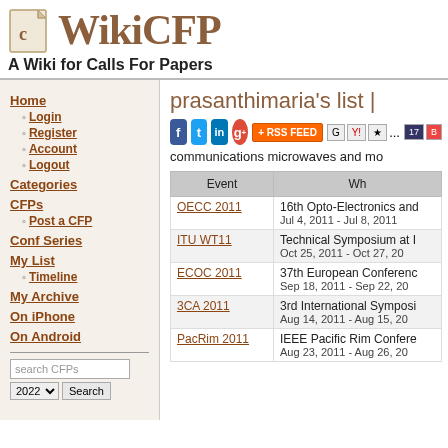WikiCFP — A Wiki for Calls For Papers
prasanthimaria's list | communications microwaves and mo...
Home
Login
Register
Account
Logout
Categories
CFPs
Post a CFP
Conf Series
My List
Timeline
My Archive
On iPhone
On Android
| Event | Wh... |
| --- | --- |
| OECC 2011 | 16th Opto-Electronics and...
Jul 4, 2011 - Jul 8, 2011 |
| ITU WT11 | Technical Symposium at I...
Oct 25, 2011 - Oct 27, 20... |
| ECOC 2011 | 37th European Conferen...
Sep 18, 2011 - Sep 22, 20... |
| 3CA 2011 | 3rd International Sympos...
Aug 14, 2011 - Aug 15, 20... |
| PacRim 2011 | IEEE Pacific Rim Confere...
Aug 23, 2011 - Aug 26, 20... |